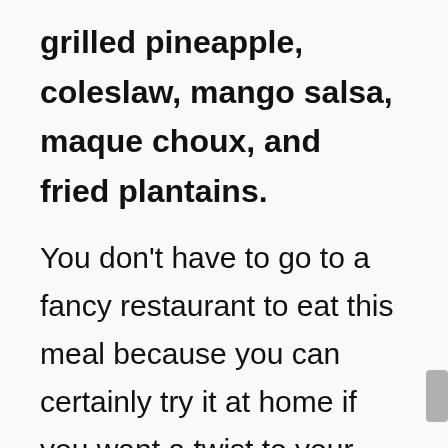grilled pineapple, coleslaw, mango salsa, maque choux, and fried plantains.
You don't have to go to a fancy restaurant to eat this meal because you can certainly try it at home if you want a twist to your chicken recipes.
However, you ask yourself, what to serve with jerk chicken?